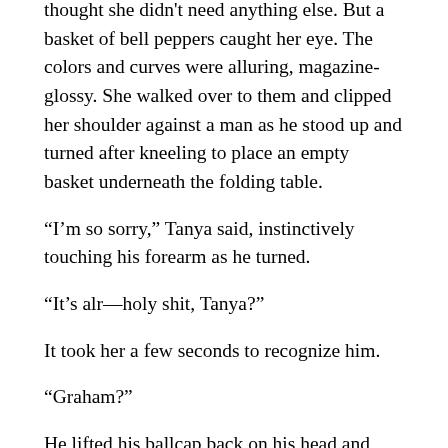thought she didn't need anything else. But a basket of bell peppers caught her eye. The colors and curves were alluring, magazine-glossy. She walked over to them and clipped her shoulder against a man as he stood up and turned after kneeling to place an empty basket underneath the folding table.
“I’m so sorry,” Tanya said, instinctively touching his forearm as he turned.
“It’s alr—holy shit, Tanya?”
It took her a few seconds to recognize him.
“Graham?”
He lifted his ballcap back on his head and wiped